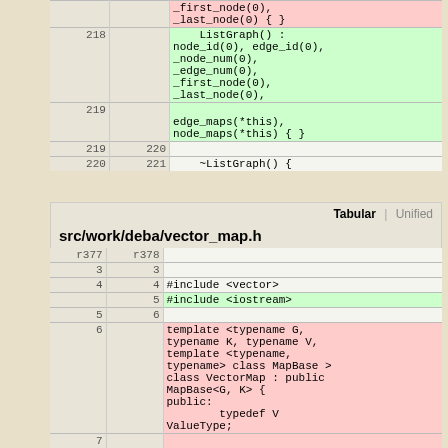| old | new | code |
| --- | --- | --- |
|  |  | _first_node(0), _last_node(0) { } |
| 218 |  | ListGraph() : node_id(0), edge_id(0), _node_num(0), _edge_num(0), _first_node(0), _last_node(0), |
| 219 |  | edge_maps(*this), node_maps(*this) { } |
| 219 | 220 |  |
| 220 | 221 | ~ListGraph() { |
Tabular | Unified
src/work/deba/vector_map.h
| r377 | r378 | code |
| --- | --- | --- |
| 3 | 3 |  |
| 4 | 4 | #include <vector> |
|  | 5 | #include <iostream> |
| 5 | 6 |  |
| 6 |  | template <typename G, typename K, typename V, template <typename, typename> class MapBase > class VectorMap : public MapBase<G, K> { public:         typedef V ValueType; |
| 7 |  |  |
| 8 |  |  |
| 9 |  |  |
|  | 7 | #include "map_base.h" |